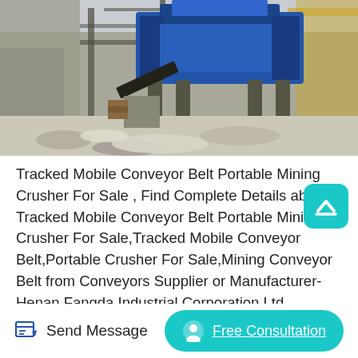[Figure (photo): Industrial mining site showing a large blue tracked mobile conveyor belt portable mining crusher machine installed at a quarry or mining operation. Rocky terrain visible in background with steel structural supports.]
Tracked Mobile Conveyor Belt Portable Mining Crusher For Sale , Find Complete Details about Tracked Mobile Conveyor Belt Portable Mining Crusher For Sale,Tracked Mobile Conveyor Belt,Portable Crusher For Sale,Mining Conveyor Belt from Conveyors Supplier or Manufacturer-Henan Fangda Industrial Corporation Ltd.
Send Message  Free Consultation